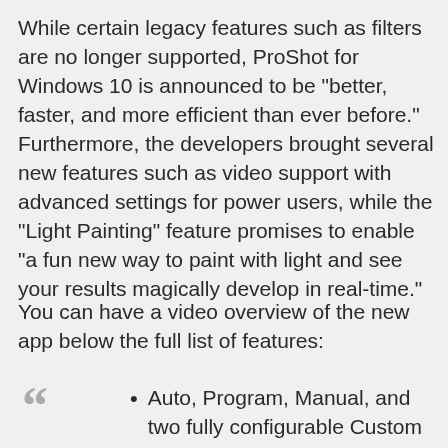While certain legacy features such as filters are no longer supported, ProShot for Windows 10 is announced to be "better, faster, and more efficient than ever before." Furthermore, the developers brought several new features such as video support with advanced settings for power users, while the "Light Painting" feature promises to enable "a fun new way to paint with light and see your results magically develop in real-time."
You can have a video overview of the new app below the full list of features:
Auto, Program, Manual, and two fully configurable Custom modes